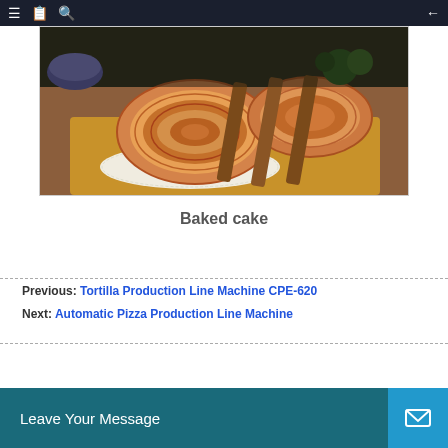Navigation bar with menu, book, search icons and back arrow
[Figure (photo): Photo of spiral-shaped baked pastries (palmier/elephant ear cookies) arranged on a wooden tray with a white doily, displayed in a product image frame]
Baked cake
Previous: Tortilla Production Line Machine CPE-620
Next: Automatic Pizza Production Line Machine
Leave Your Message